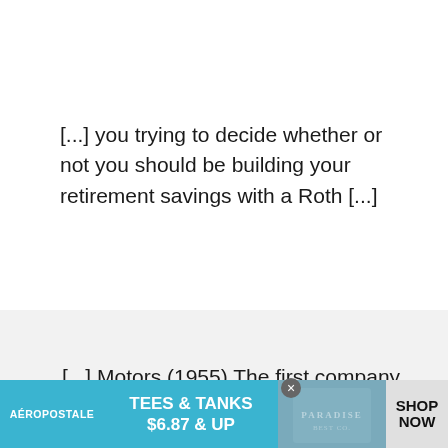[...] you trying to decide whether or not you should be building your retirement savings with a Roth [...]
[...] Motors (1955) The first company to hit $10 billion in market capitalization. The 1950s were the golden years of growth for
[Figure (screenshot): Aeropostale advertisement banner: TEES & TANKS $6.87 & UP with SHOP NOW button and photo of person wearing a t-shirt with PARADISE text]